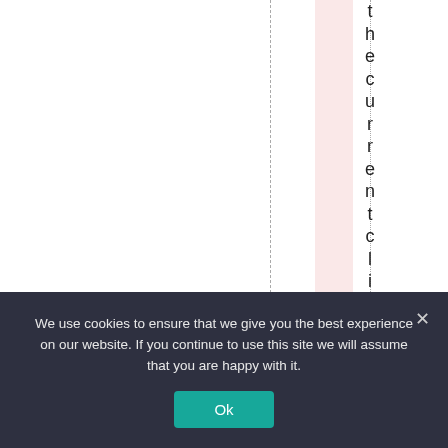thecurrentclimaet
We use cookies to ensure that we give you the best experience on our website. If you continue to use this site we will assume that you are happy with it.